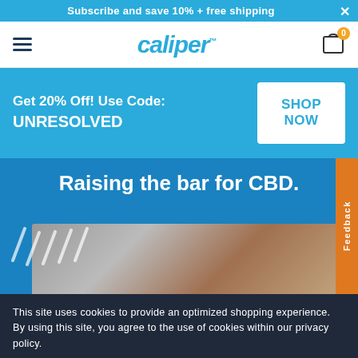Subscribe and save 10% + free shipping
[Figure (logo): Caliper brand logo in blue italic font]
Get 20% Off! Use Code: UNRESOLVED
SHOP NOW
Raising the bar for CBD.
[Figure (photo): Close-up photo of a person's hand/wrist with a watch and bracelet, teal/blue background with diagonal white tick marks]
Feedback
This site uses cookies to provide an optimized shopping experience. By using this site, you agree to the use of cookies within our privacy policy.
I Agree